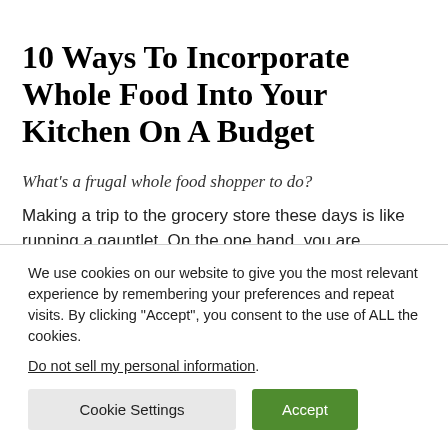10 Ways To Incorporate Whole Food Into Your Kitchen On A Budget
What's a frugal whole food shopper to do?
Making a trip to the grocery store these days is like running a gauntlet. On the one hand, you are assaulted by food-like substances wrapped up in attractive packages, some even touting exaggerated health benefits from the toxins within!
We use cookies on our website to give you the most relevant experience by remembering your preferences and repeat visits. By clicking “Accept”, you consent to the use of ALL the cookies.
Do not sell my personal information.